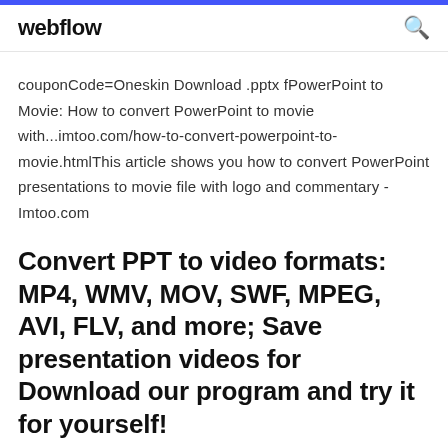webflow
couponCode=Oneskin Download .pptx fPowerPoint to Movie: How to convert PowerPoint to movie with...imtoo.com/how-to-convert-powerpoint-to-movie.htmlThis article shows you how to convert PowerPoint presentations to movie file with logo and commentary - Imtoo.com
Convert PPT to video formats: MP4, WMV, MOV, SWF, MPEG, AVI, FLV, and more; Save presentation videos for Download our program and try it for yourself!